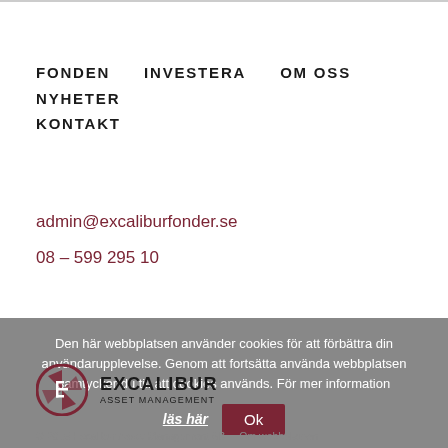FONDEN    INVESTERA    OM OSS    NYHETER    KONTAKT
admin@excaliburfonder.se
08 – 599 295 10
Den här webbplatsen använder cookies för att förbättra din användarupplevelse. Genom att fortsätta använda webbplatsen samtycker du till att cookies används. För mer information läs här Ok
[Figure (logo): Excalibur Asset Management logo with circular shield icon in dark red/maroon and company name in bold uppercase]
© 2015 Excalibur Asset Management AB    Om webbplatsen